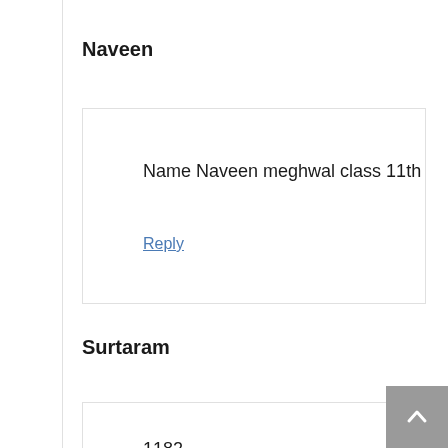Naveen
Name Naveen meghwal class 11th
Reply
Surtaram
1182